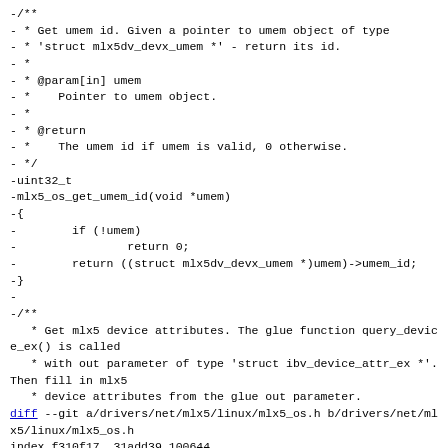-/**
- * Get umem id. Given a pointer to umem object of type
- * 'struct mlx5dv_devx_umem *' - return its id.
- *
- * @param[in] umem
- *    Pointer to umem object.
- *
- * @return
- *    The umem id if umem is valid, 0 otherwise.
- */
-uint32_t
-mlx5_os_get_umem_id(void *umem)
-{
-        if (!umem)
-                return 0;
-        return ((struct mlx5dv_devx_umem *)umem)->umem_id;
-}
-
-/**
   * Get mlx5 device attributes. The glue function query_device_ex() is called
   * with out parameter of type 'struct ibv_device_attr_ex *'. Then fill in mlx5
   * device attributes from the glue out parameter.
diff --git a/drivers/net/mlx5/linux/mlx5_os.h b/drivers/net/mlx5/linux/mlx5_os.h
index f310f17..31add39 100644
--- a/drivers/net/mlx5/linux/mlx5_os.h